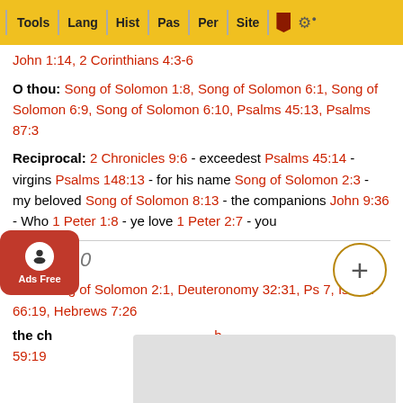Tools | Lang | Hist | Pas | Per | Site
John 1:14, 2 Corinthians 4:3-6
O thou: Song of Solomon 1:8, Song of Solomon 6:1, Song of Solomon 6:9, Song of Solomon 6:10, Psalms 45:13, Psalms 87:3
Reciprocal: 2 Chronicles 9:6 - exceedest Psalms 45:14 - virgins Psalms 148:13 - for his name Song of Solomon 2:3 - my beloved Song of Solomon 8:13 - the companions John 9:36 - Who 1 Peter 1:8 - ye love 1 Peter 2:7 - you
Verse 10
ved: Song of Solomon 2:1, Deuteronomy 32:31, Ps 7, Isaiah 66:19, Hebrews 7:26
the ch... h 59:19